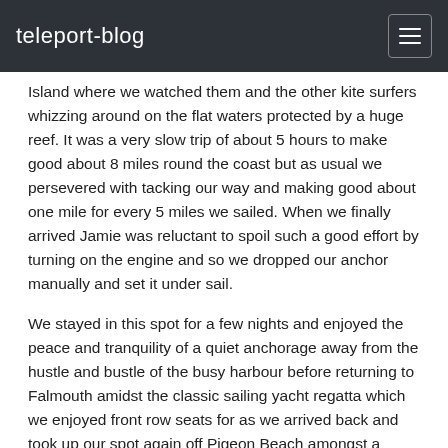teleport-blog
Island where we watched them and the other kite surfers whizzing around on the flat waters protected by a huge reef. It was a very slow trip of about 5 hours to make good about 8 miles round the coast but as usual we persevered with tacking our way and making good about one mile for every 5 miles we sailed. When we finally arrived Jamie was reluctant to spoil such a good effort by turning on the engine and so we dropped our anchor manually and set it under sail.
We stayed in this spot for a few nights and enjoyed the peace and tranquility of a quiet anchorage away from the hustle and bustle of the busy harbour before returning to Falmouth amidst the classic sailing yacht regatta which we enjoyed front row seats for as we arrived back and took up our spot again off Pigeon Beach amongst a crowded anchorage.
We enjoyed a further few nights in Falmouth before setting sail north again to renew our cruising permit in Jolly for a